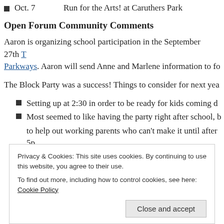Oct. 7    Run for the Arts! at Caruthers Park
Open Forum Community Comments
Aaron is organizing school participation in the September 27th [link] Parkways. Aaron will send Anne and Marlene information to fo...
The Block Party was a success! Things to consider for next yea...
Setting up at 2:30 in order to be ready for kids coming d...
Most seemed to like having the party right after school, b... to help out working parents who can't make it until after 5p...
Privacy & Cookies: This site uses cookies. By continuing to use this website, you agree to their use.
To find out more, including how to control cookies, see here: Cookie Policy